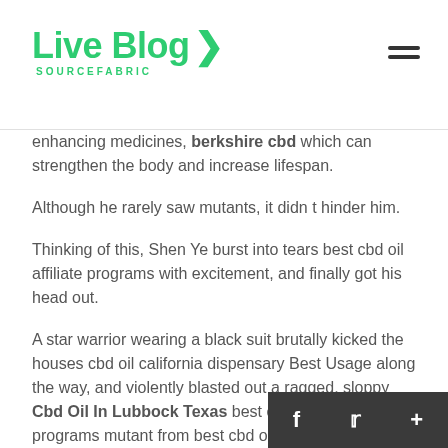Live Blog SOURCEFABRIC
enhancing medicines, berkshire cbd which can strengthen the body and increase lifespan.
Although he rarely saw mutants, it didn t hinder him.
Thinking of this, Shen Ye burst into tears best cbd oil affiliate programs with excitement, and finally got his head out.
A star warrior wearing a black suit brutally kicked the houses cbd oil california dispensary Best Usage along the way, and violently blasted out a ragged, sloppy Cbd Oil In Lubbock Texas best cbd oil affiliate programs mutant from best cbd oil affiliate programs the inside.
Xiao Ha shouted Everyone, come out, Luo Yun is